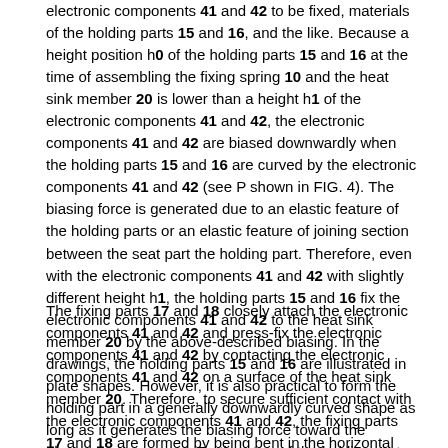electronic components 41 and 42 to be fixed, materials of the holding parts 15 and 16, and the like. Because a height position h0 of the holding parts 15 and 16 at the time of assembling the fixing spring 10 and the heat sink member 20 is lower than a height h1 of the electronic components 41 and 42, the electronic components 41 and 42 are biased downwardly when the holding parts 15 and 16 are curved by the electronic components 41 and 42 (see P shown in FIG. 4). The biasing force is generated due to an elastic feature of the holding parts or an elastic feature of joining section between the seat part the holding part. Therefore, even with the electronic components 41 and 42 with slightly different height h1, the holding parts 15 and 16 fix the electronic components 41 and 42 to the heat sink member 20 by the above-described biasing. In the drawings, the holding parts 15 and 16 are illustrated in plate shapes. However, it is also practical to form the holding part in a generally downwardly curved shape as long as it generates the biasing force toward the electronic component. Further, two of the holding parts do not necessarily have to be in the identical shape.
The fixing parts 17 and 18 closely attach the electronic components 41 and 42 and press-fix the electronic components 41 and 42 by contacting the electronic components 41 and 42 on a surface of the heat sink member 20. Therefore, to secure sufficient contact with the electronic components 41 and 42, the fixing parts 17 and 18 are formed by being bent in the horizontal direction in correspondence with shapes of the electronic components 41